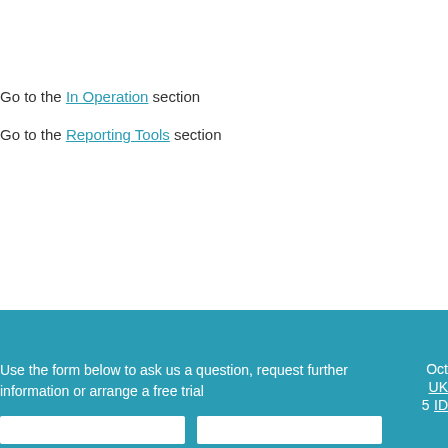Go to the In Operation section
Go to the Reporting Tools section
Use the form below to ask us a question, request further information or arrange a free trial